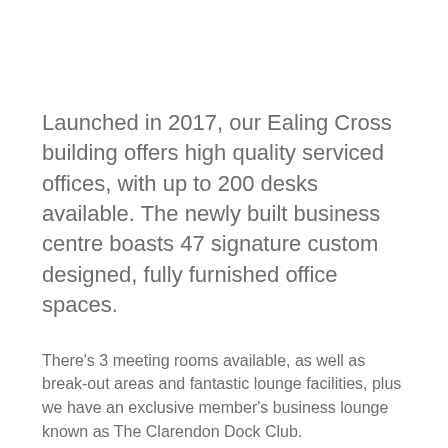Launched in 2017, our Ealing Cross building offers high quality serviced offices, with up to 200 desks available. The newly built business centre boasts 47 signature custom designed, fully furnished office spaces.
There's 3 meeting rooms available, as well as break-out areas and fantastic lounge facilities, plus we have an exclusive member's business lounge known as The Clarendon Dock Club.
Our boutique style offices, with the latest design features, have been decorated and finished to the highest